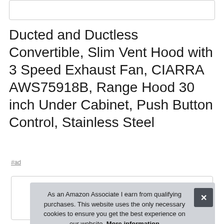[Figure (other): Top white rounded rectangle box (partial UI element)]
Ducted and Ductless Convertible, Slim Vent Hood with 3 Speed Exhaust Fan, CIARRA AWS75918B, Range Hood 30 inch Under Cabinet, Push Button Control, Stainless Steel
#ad
[Figure (other): Partial product card image on the bottom left]
As an Amazon Associate I earn from qualifying purchases. This website uses the only necessary cookies to ensure you get the best experience on our website. More information